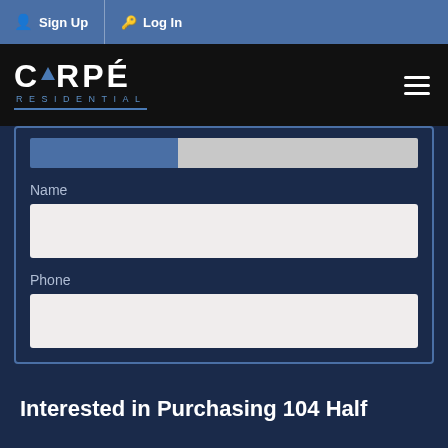Sign Up  Log In
[Figure (logo): Carpé Residential logo — white text with blue triangle accent, 'RESIDENTIAL' in blue below, on black background. Hamburger menu icon top right.]
Name
Phone
Interested in Purchasing 104 Half